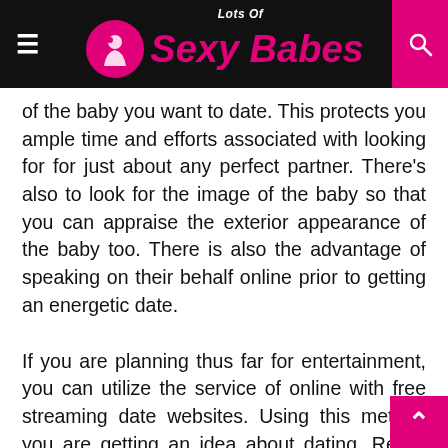Lots Of Sexy Babes
of the baby you want to date. This protects you ample time and efforts associated with looking for for just about any perfect partner. There's also to look for the image of the baby so that you can appraise the exterior appearance of the baby too. There is also the advantage of speaking on their behalf online prior to getting an energetic date.
If you are planning thus far for entertainment, you can utilize the service of online with free streaming date websites. Using this method you are getting an idea about dating. Really the only constraint from the free dating services are they merely possess a tiny number of profiles. You may be not able to locate as much listings as you possibly can in the compensated dating service. A